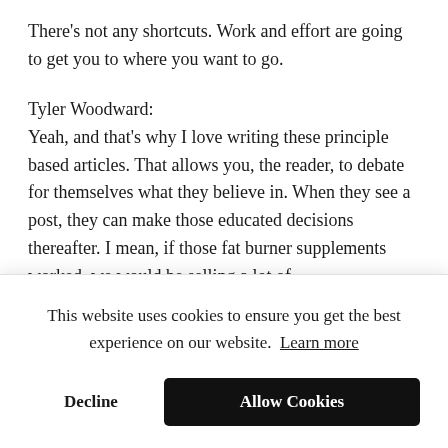There's not any shortcuts. Work and effort are going to get you to where you want to go.
Tyler Woodward:
Yeah, and that's why I love writing these principle based articles. That allows you, the reader, to debate for themselves what they believe in. When they see a post, they can make those educated decisions thereafter. I mean, if those fat burner supplements worked, we would be selling a lot of
This website uses cookies to ensure you get the best experience on our website. Learn more
Decline
Allow Cookies